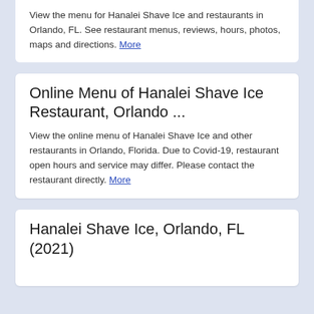View the menu for Hanalei Shave Ice and restaurants in Orlando, FL. See restaurant menus, reviews, hours, photos, maps and directions. More
Online Menu of Hanalei Shave Ice Restaurant, Orlando ...
View the online menu of Hanalei Shave Ice and other restaurants in Orlando, Florida. Due to Covid-19, restaurant open hours and service may differ. Please contact the restaurant directly. More
Hanalei Shave Ice, Orlando, FL (2021)